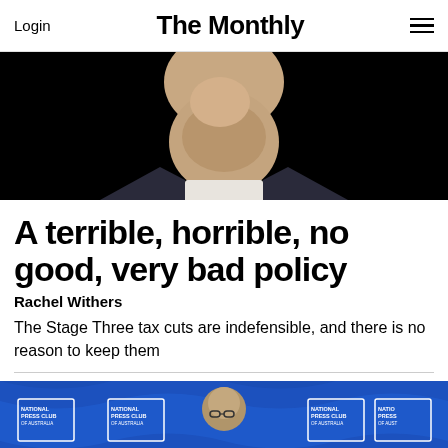Login | The Monthly | [menu icon]
[Figure (photo): Close-up photo of a man's face tilted upward, against a black background, wearing a dark suit and white shirt.]
A terrible, horrible, no good, very bad policy
Rachel Withers
The Stage Three tax cuts are indefensible, and there is no reason to keep them
[Figure (photo): Photo of a man speaking at a podium in front of multiple National Press Club of Australia banners on a blue background.]